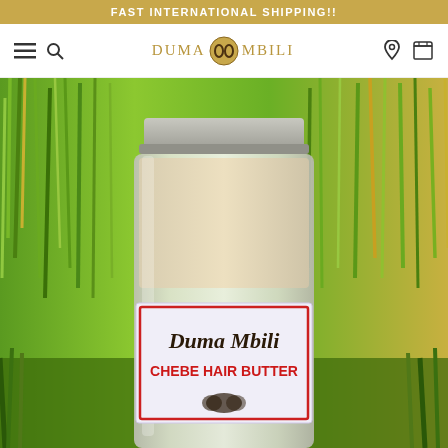FAST INTERNATIONAL SHIPPING!!
[Figure (logo): Duma Mbili brand logo with golden text and circular emblem in the center of a navigation bar]
[Figure (photo): A jar of Duma Mbili Chebe Hair Butter with a white label showing the brand name in cursive and red bold text, placed against a background of dense green grass]